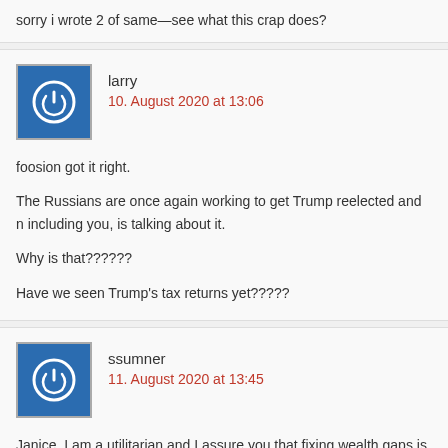sorry i wrote 2 of same—see what this crap does?
larry
10. August 2020 at 13:06
foosion got it right.

The Russians are once again working to get Trump reelected and n including you, is talking about it.

Why is that??????

Have we seen Trump's tax returns yet?????
ssumner
11. August 2020 at 13:45
Janice, I am a utilitarian and I assure you that fixing wealth gaps is not a u concept. We believe in maximizing aggregate utility.

You said: